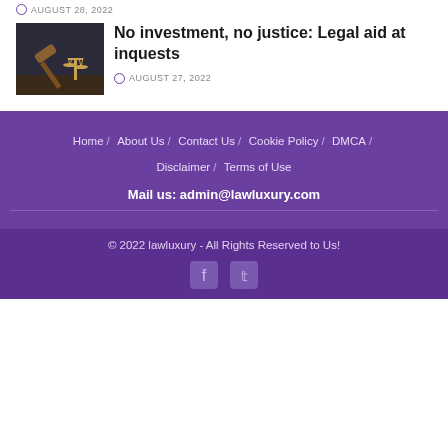AUGUST 28, 2022
[Figure (photo): Gavel and scales of justice on dark background]
No investment, no justice: Legal aid at inquests
AUGUST 27, 2022
Home / About Us / Contact Us / Cookie Policy / DMCA / Disclaimer / Terms of Use
Mail us: admin@lawluxury.com
© 2022 lawluxury - All Rights Reserved to Us!